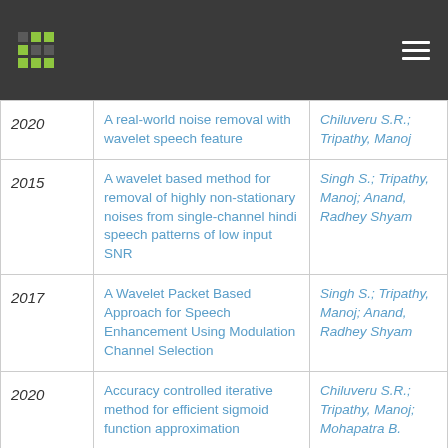Header bar with logo and menu icon
| Year | Title | Authors |
| --- | --- | --- |
| 2020 | A real-world noise removal with wavelet speech feature | Chiluveru S.R.; Tripathy, Manoj |
| 2015 | A wavelet based method for removal of highly non-stationary noises from single-channel hindi speech patterns of low input SNR | Singh S.; Tripathy, Manoj; Anand, Radhey Shyam |
| 2017 | A Wavelet Packet Based Approach for Speech Enhancement Using Modulation Channel Selection | Singh S.; Tripathy, Manoj; Anand, Radhey Shyam |
| 2020 | Accuracy controlled iterative method for efficient sigmoid function approximation | Chiluveru S.R.; Tripathy, Manoj; Mohapatra B. |
| 2014 | Advance Compensated Mho | Manori A.; Tripathy, |